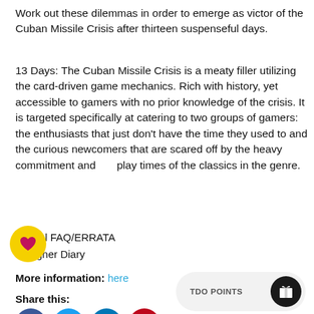Work out these dilemmas in order to emerge as victor of the Cuban Missile Crisis after thirteen suspenseful days.
13 Days: The Cuban Missile Crisis is a meaty filler utilizing the card-driven game mechanics. Rich with history, yet accessible to gamers with no prior knowledge of the crisis. It is targeted specifically at catering to two groups of gamers: the enthusiasts that just don't have the time they used to and the curious newcomers that are scared off by the heavy commitment and play times of the classics in the genre.
Official FAQ/ERRATA
Designer Diary
More information: here
Share this:
[Figure (infographic): Social share icons: Facebook (blue), Twitter (light blue), LinkedIn (blue), Pinterest (red)]
[Figure (infographic): TDO Points widget with a black circle icon containing a gift/present symbol]